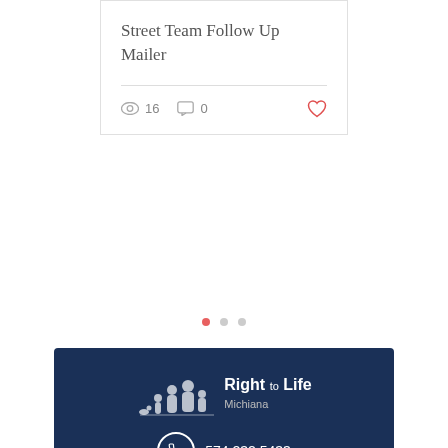Street Team Follow Up Mailer
16 views · 0 comments
[Figure (logo): Right to Life Michiana logo with silhouette figures of a family and a dog]
574.232.5433
life@prolifemichiana.org
[Figure (infographic): Social media icons: Facebook, Instagram, Twitter, YouTube]